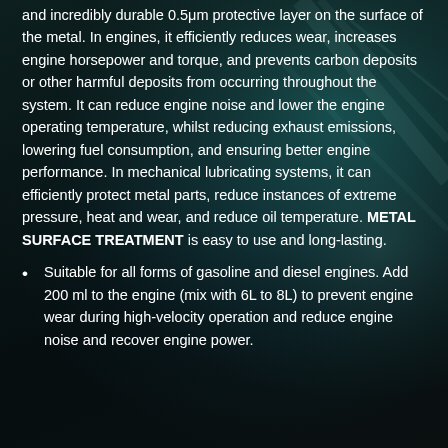and incredibly durable 0.5μm protective layer on the surface of the metal. In engines, it efficiently reduces wear, increases engine horsepower and torque, and prevents carbon deposits or other harmful deposits from occurring throughout the system. It can reduce engine noise and lower the engine operating temperature, whilst reducing exhaust emissions, lowering fuel consumption, and ensuring better engine performance. In mechanical lubricating systems, it can efficiently protect metal parts, reduce instances of extreme pressure, heat and wear, and reduce oil temperature. METAL SURFACE TREATMENT is easy to use and long-lasting.
Suitable for all forms of gasoline and diesel engines. Add 200 ml to the engine (mix with 6L to 8L) to prevent engine wear during high-velocity operation and reduce engine noise and recover engine power.